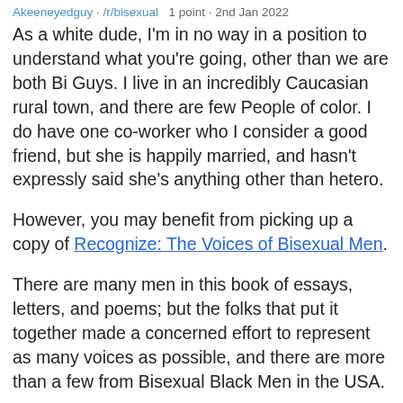Akeeneyedguy · /r/bisexual   1 point · 2nd Jan 2022
As a white dude, I'm in no way in a position to understand what you're going, other than we are both Bi Guys. I live in an incredibly Caucasian rural town, and there are few People of color. I do have one co-worker who I consider a good friend, but she is happily married, and hasn't expressly said she's anything other than hetero.
However, you may benefit from picking up a copy of Recognize: The Voices of Bisexual Men.
There are many men in this book of essays, letters, and poems; but the folks that put it together made a concerned effort to represent as many voices as possible, and there are more than a few from Bisexual Black Men in the USA.
I hope you are able to find a support group. I'm 37, in a hetero marriage, four kids. If you think my experience could help, I am more than happy to